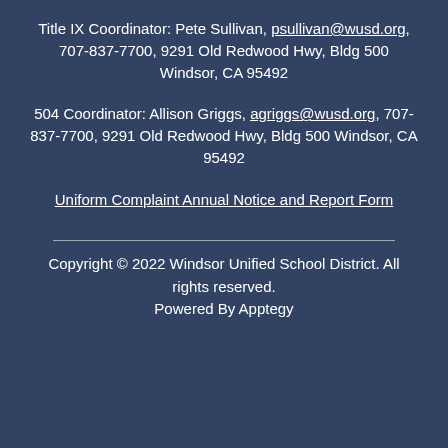Title IX Coordinator: Pete Sullivan, psullivan@wusd.org, 707-837-7700, 9291 Old Redwood Hwy, Bldg 500 Windsor, CA 95492
504 Coordinator: Allison Griggs, agriggs@wusd.org, 707-837-7700, 9291 Old Redwood Hwy, Bldg 500 Windsor, CA 95492
Uniform Complaint Annual Notice and Report Form
Copyright © 2022 Windsor Unified School District. All rights reserved. Powered By Apptegy